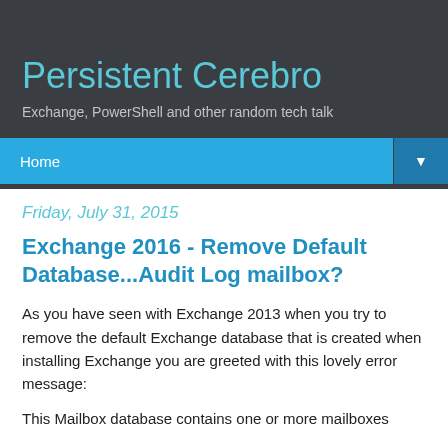Persistent Cerebro
Exchange, PowerShell and other random tech talk
Home
Friday, July 31, 2015
Exchange 2016 - Remove Default Database...Audit Log mailbox?
As you have seen with Exchange 2013 when you try to remove the default Exchange database that is created when installing Exchange you are greeted with this lovely error message:
This Mailbox database contains one or more mailboxes